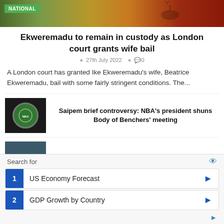[Figure (photo): Top banner image with NATIONAL badge, wildlife and cultural imagery]
Ekweremadu to remain in custody as London court grants wife bail
27th July 2022  0
A London court has granted Ike Ekweremadu's wife, Beatrice Ekweremadu, bail with some fairly stringent conditions. The...
[Figure (photo): Thumbnail of Nigerian Bar Association wig and badge logo]
Saipem brief controversy: NBA's president shuns Body of Benchers' meeting
[Figure (photo): Thumbnail showing 'out of th' text on dark teal background]
Religion matters in Nigerian politics
[Figure (photo): Thumbnail of Guards Brigade scene]
How Guards Brigade lost 2 officers, 8 soldiers in
Search for
1  US Economy Forecast
2  GDP Growth by Country